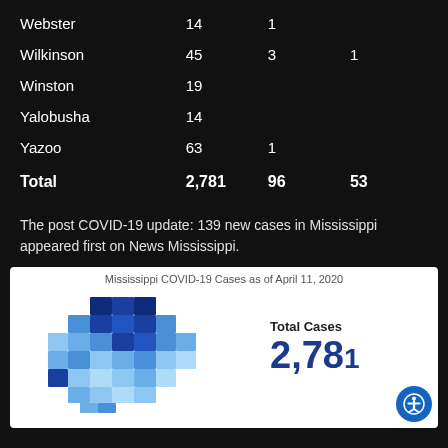| County | Cases | Deaths | LTC |
| --- | --- | --- | --- |
| Webster | 14 | 1 |  |
| Wilkinson | 45 | 3 | 1 |
| Winston | 19 |  |  |
| Yalobusha | 14 |  |  |
| Yazoo | 63 | 1 |  |
| Total | 2,781 | 96 | 53 |
The post COVID-19 update: 139 new cases in Mississippi appeared first on News Mississippi.
[Figure (map): Mississippi COVID-19 Cases as of April 11, 2020 — choropleth map of Mississippi counties colored in shades of blue by case count. Total Cases: 2,781 shown to the right.]